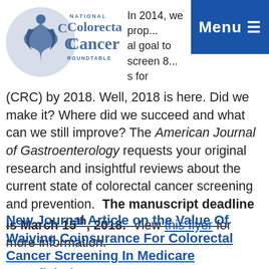[Figure (logo): National Colorectal Cancer Roundtable logo with circular blue/grey emblem and organization name]
In 2014, we prop... al goal to screen 8... s for colorectal cancer (CRC) by 2018. Well, 2018 is here. Did we make it? Where did we succeed and what can we still improve? The American Journal of Gastroenterology requests your original research and insightful reviews about the current state of colorectal cancer screening and prevention.  The manuscript deadline is March 15th, 2018.  View this flyer for more information.
New Journal Article on the Value Of Waiving Coinsurance For Colorectal Cancer Screening In Medicare Beneficiaries